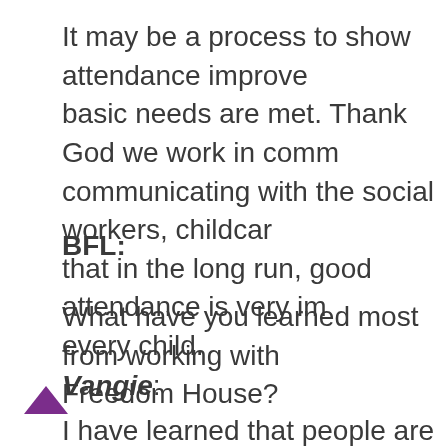It may be a process to show attendance improves when basic needs are met. Thank God we work in comm communicating with the social workers, childcare that in the long run, good attendance is very imp every child.
BFL:
What have you learned most from working with Freedom House?
Vangie:
I have learned that people are truly fearfully an promise, purpose and possibility in ALL people! I